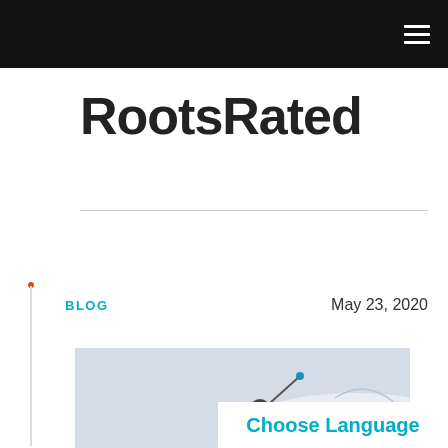RootsRated — navigation header with hamburger menu
RootsRated
BLOG    May 23, 2020
[Figure (photo): A skier in a yellow jacket and helmet skiing down a snowy slope, with a ski pole visible and snow spray, against a pale blue-grey sky background.]
Choose Language